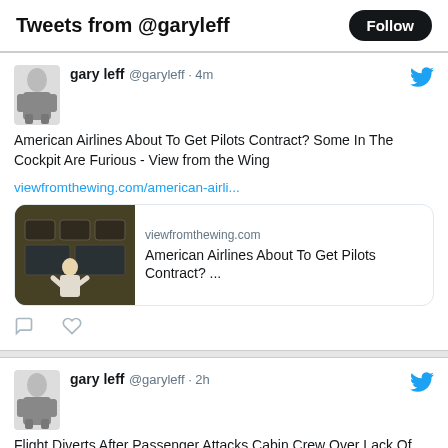Tweets from @garyleff
gary leff @garyleff · 4m
American Airlines About To Get Pilots Contract? Some In The Cockpit Are Furious - View from the Wing
viewfromthewing.com/american-airli...
[Figure (screenshot): Link preview card showing cockpit image with text: viewfromthewing.com / American Airlines About To Get Pilots Contract? ...]
gary leff @garyleff · 2h
Flight Diverts After Passenger Attacks Cabin Crew Over Lack Of Free Champagne (In Coach) - View from the Wing
viewfromthewing.com/flight-diverts...